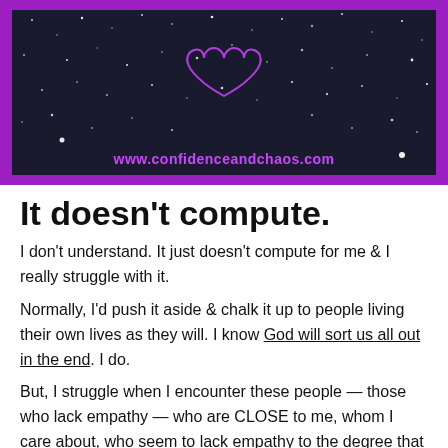[Figure (illustration): Blog banner image with purple border, dark starry background, cursive pink/purple text 'Lack Empathy?' at top, a purple heart outline drawing in center, and URL www.confidenceandchaos.com at bottom]
It doesn't compute.
I don't understand. It just doesn't compute for me & I really struggle with it.
Normally, I'd push it aside & chalk it up to people living their own lives as they will. I know God will sort us all out in the end. I do.
But, I struggle when I encounter these people — those who lack empathy — who are CLOSE to me, whom I care about, who seem to lack empathy to the degree that